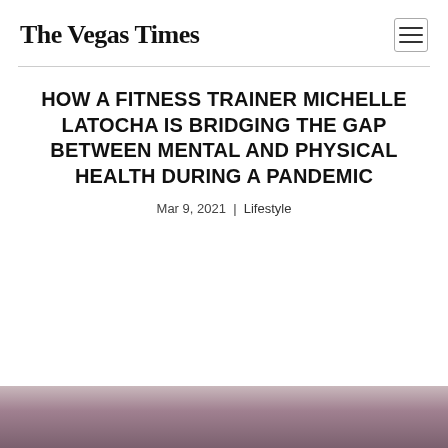The Vegas Times
HOW A FITNESS TRAINER MICHELLE LATOCHA IS BRIDGING THE GAP BETWEEN MENTAL AND PHYSICAL HEALTH DURING A PANDEMIC
Mar 9, 2021 | Lifestyle
[Figure (photo): Photo of Michelle Latocha, partially visible at bottom of page]